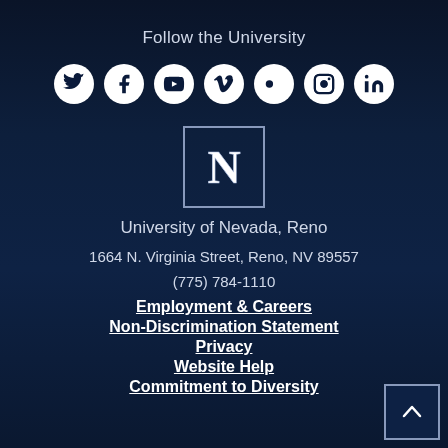Follow the University
[Figure (illustration): Row of 7 social media icons (Twitter, Facebook, YouTube, Vimeo, Flickr, Instagram, LinkedIn) as white circles on dark background]
[Figure (logo): University of Nevada, Reno logo: white N in a bordered square]
University of Nevada, Reno
1664 N. Virginia Street, Reno, NV 89557
(775) 784-1110
Employment & Careers
Non-Discrimination Statement
Privacy
Website Help
Commitment to Diversity